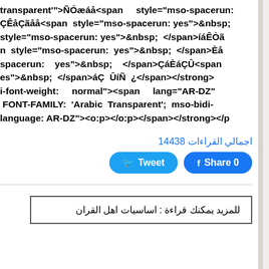transparent'">ÑÓæáå<span     style="mso-spacerun: ÇÊåÇãåå<span  style="mso-spacerun: yes">&nbsp; style="mso-spacerun: yes">&nbsp;  </span>íáÊÒã n  style="mso-spacerun:  yes">&nbsp;  </span>Èå spacerun:    yes">&nbsp;    </span>ÇáÈáÇÛ<span es">&nbsp;  </span>áÇ  ÛíÑ  ¿</span></strong> i-font-weight:    normal"><span    lang="AR-DZ"   FONT-FAMILY:  'Arabic  Transparent';  mso-bidi- language: AR-DZ"><o:p></o:p></span></strong></p
اجمالي القراءات 14438
[Figure (other): Tweet and Facebook Share buttons. Tweet button in blue rounded rectangle, Share 0 button in blue rounded rectangle.]
للمزيد يمكنك قراءة : اساسيات اهل القران